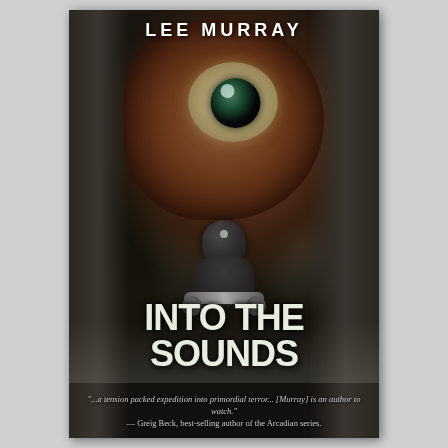[Figure (illustration): Book cover for 'Into the Sounds' by Lee Murray. A dark, atmospheric horror cover showing a motorcyclist in a cave or tunnel facing a massive creature with a large eye. The background is dark with cave walls on left and right. A monstrous creature with a large round eye dominates the upper portion. A rider on a motorcycle is seen from the back in the middle of the image.]
LEE MURRAY
INTO THE SOUNDS
"...a tension packed expedition into primordial terror... [Murray] is an author to watch." — Greig Beck, best-selling author of the Arcadian series.